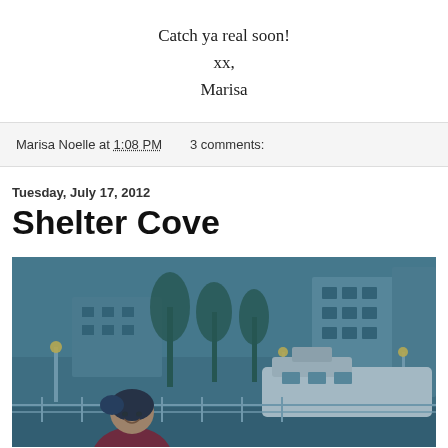Catch ya real soon!
xx,
Marisa
Marisa Noelle at 1:08 PM   3 comments:
Tuesday, July 17, 2012
Shelter Cove
[Figure (photo): A young woman smiling at a marina/harbor at dusk, with street lamps lit, boats docked, and multi-story buildings in the background. The photo has a cool blue-teal tint.]